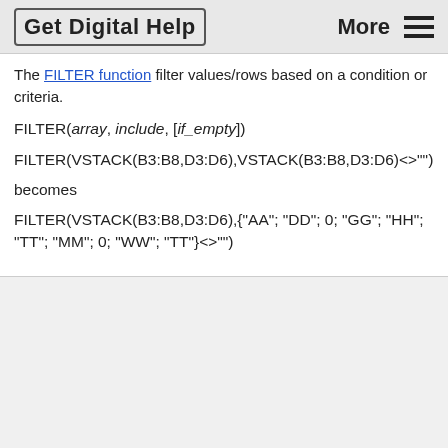Get Digital Help    More ≡
The FILTER function filter values/rows based on a condition or criteria.
FILTER(array, include, [if_empty])
FILTER(VSTACK(B3:B8,D3:D6),VSTACK(B3:B8,D3:D6)<>"")
becomes
FILTER(VSTACK(B3:B8,D3:D6),{"AA"; "DD"; 0; "GG"; "HH"; "TT"; "MM"; 0; "WW"; "TT"}<>"")